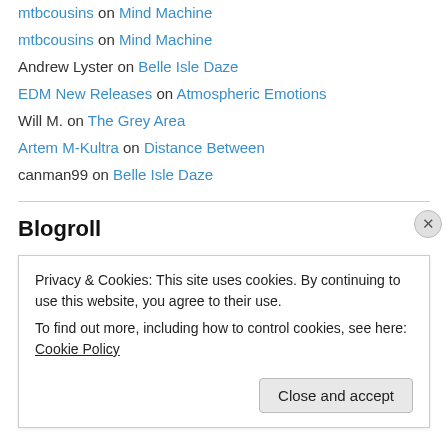mtbcousins on Mind Machine
mtbcousins on Mind Machine
Andrew Lyster on Belle Isle Daze
EDM New Releases on Atmospheric Emotions
Will M. on The Grey Area
Artem M-Kultra on Distance Between
canman99 on Belle Isle Daze
Blogroll
Abstract Science
Aquabahn
Privacy & Cookies: This site uses cookies. By continuing to use this website, you agree to their use. To find out more, including how to control cookies, see here: Cookie Policy
Close and accept